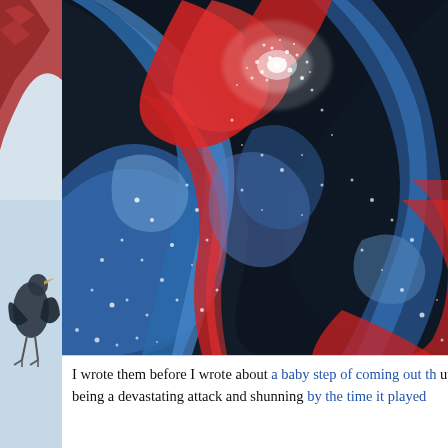[Figure (photo): Abstract fluid art painting with swirling patterns of deep blue, red, and black with white glitter/sparkle highlights, resembling a galaxy or oil spill. Partially visible on left edge: a bird or animal figure against a light blue sky background.]
I wrote them before I wrote about a baby step of coming out th... up being a devastating attack and shunning by the time it played...